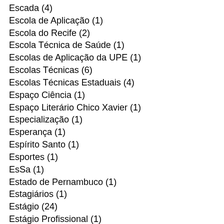Escada (4)
Escola de Aplicação (1)
Escola do Recife (2)
Escola Técnica de Saúde (1)
Escolas de Aplicação da UPE (1)
Escolas Técnicas (6)
Escolas Técnicas Estaduais (4)
Espaço Ciência (1)
Espaço Literário Chico Xavier (1)
Especialização (1)
Esperança (1)
Espírito Santo (1)
Esportes (1)
EsSa (1)
Estado de Pernambuco (1)
Estagiários (1)
Estágio (24)
Estágio Profissional (1)
Estatuto do Desarmamento. (1)
Estudantes (3)
Estudos (6)
Mapas Mentais (1)
Memorização (4)